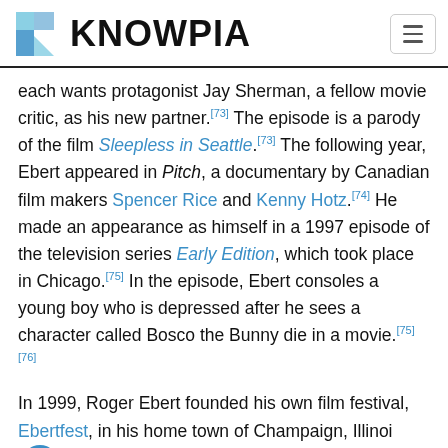KNOWPIA
each wants protagonist Jay Sherman, a fellow movie critic, as his new partner.[73] The episode is a parody of the film Sleepless in Seattle.[73] The following year, Ebert appeared in Pitch, a documentary by Canadian film makers Spencer Rice and Kenny Hotz.[74] He made an appearance as himself in a 1997 episode of the television series Early Edition, which took place in Chicago.[75] In the episode, Ebert consoles a young boy who is depressed after he sees a character called Bosco the Bunny die in a movie.[75][76]
In 1999, Roger Ebert founded his own film festival, Ebertfest, in his home town of Champaign, Illinois. He was also a regular fixture at the Hawaii International Film Festival.